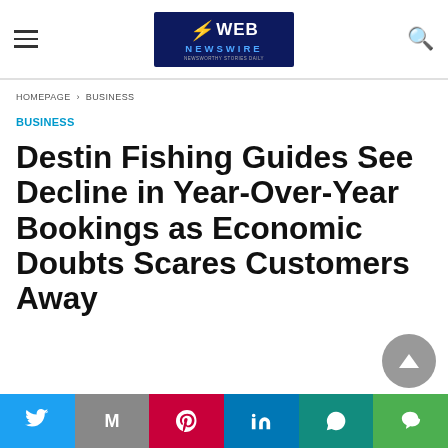Web Newswire — navigation header with hamburger menu, logo, and search icon
HOMEPAGE > BUSINESS
BUSINESS
Destin Fishing Guides See Decline in Year-Over-Year Bookings as Economic Doubts Scares Customers Away
Social share bar: Twitter, Gmail, Pinterest, LinkedIn, WhatsApp, Line